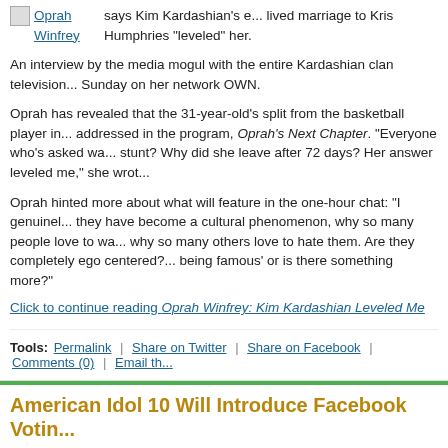Kim Kardashian and Oprah Winfrey [image] Oprah Winfrey says Kim Kardashian's e... lived marriage to Kris Humphries "leveled" her.
An interview by the media mogul with the entire Kardashian clan television... Sunday on her network OWN.
Oprah has revealed that the 31-year-old's split from the basketball player in... addressed in the program, Oprah's Next Chapter. "Everyone who's asked wa... stunt? Why did she leave after 72 days? Her answer leveled me," she wrot...
Oprah hinted more about what will feature in the one-hour chat: "I genuinel... they have become a cultural phenomenon, why so many people love to wa... why so many others love to hate them. Are they completely ego centered?... being famous' or is there something more?"
Click to continue reading Oprah Winfrey: Kim Kardashian Leveled Me
Tools: Permalink | Share on Twitter | Share on Facebook | Comments (0) | Email th...
American Idol 10 Will Introduce Facebook Votin...
Posted by K.C. Morgan
Categories: Music, Prime Time, Reality, FOX, American Idol, Gossi...
Like the idea of using Facebook while you're watching...